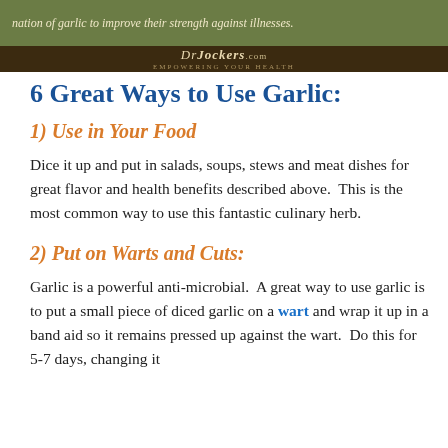[Figure (infographic): Top banner with olive green background showing partial text about garlic and a DrJockers.com logo bar in dark brown at the bottom of the banner]
6 Great Ways to Use Garlic:
1) Use in Your Food
Dice it up and put in salads, soups, stews and meat dishes for great flavor and health benefits described above.  This is the most common way to use this fantastic culinary herb.
2) Put on Warts and Cuts:
Garlic is a powerful anti-microbial.  A great way to use garlic is to put a small piece of diced garlic on a wart and wrap it up in a band aid so it remains pressed up against the wart.  Do this for 5-7 days, changing it